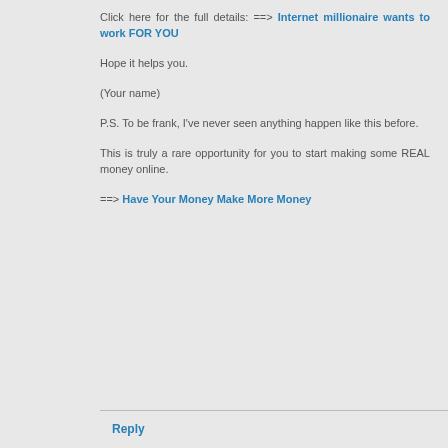Click here for the full details: ==> Internet millionaire wants to work FOR YOU
Hope it helps you.
(Your name)
P.S. To be frank, I've never seen anything happen like this before.
This is truly a rare opportunity for you to start making some REAL money online.
==> Have Your Money Make More Money
Reply